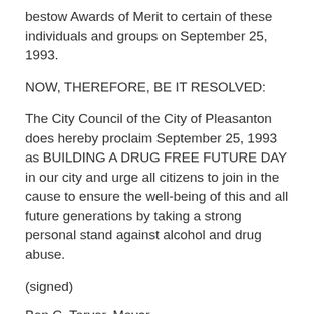bestow Awards of Merit to certain of these individuals and groups on September 25, 1993.
NOW, THEREFORE, BE IT RESOLVED:
The City Council of the City of Pleasanton does hereby proclaim September 25, 1993 as BUILDING A DRUG FREE FUTURE DAY in our city and urge all citizens to join in the cause to ensure the well-being of this and all future generations by taking a strong personal stand against alcohol and drug abuse.
(signed)
Ben C. Tarver, Mayor
Dorothy Scribner, Vice Mayor
Tom P. Pico, Jr., Councilmember